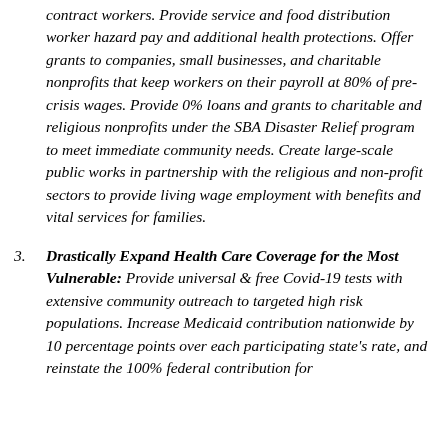contract workers. Provide service and food distribution worker hazard pay and additional health protections. Offer grants to companies, small businesses, and charitable nonprofits that keep workers on their payroll at 80% of pre-crisis wages. Provide 0% loans and grants to charitable and religious nonprofits under the SBA Disaster Relief program to meet immediate community needs. Create large-scale public works in partnership with the religious and non-profit sectors to provide living wage employment with benefits and vital services for families.
3. Drastically Expand Health Care Coverage for the Most Vulnerable: Provide universal & free Covid-19 tests with extensive community outreach to targeted high risk populations. Increase Medicaid contribution nationwide by 10 percentage points over each participating state's rate, and reinstate the 100% federal contribution for